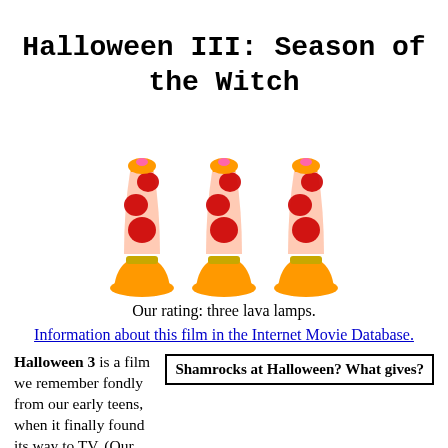Halloween III: Season of the Witch
[Figure (illustration): Three orange and red lava lamps side by side]
Our rating: three lava lamps.
Information about this film in the Internet Movie Database.
Halloween 3 is a film we remember fondly from our early teens, when it finally found its way to TV. (Our
Shamrocks at Halloween? What gives?